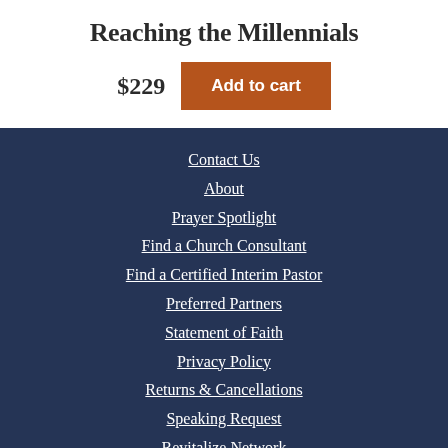Reaching the Millennials
$229  Add to cart
Contact Us
About
Prayer Spotlight
Find a Church Consultant
Find a Certified Interim Pastor
Preferred Partners
Statement of Faith
Privacy Policy
Returns & Cancellations
Speaking Request
Revitalize Network